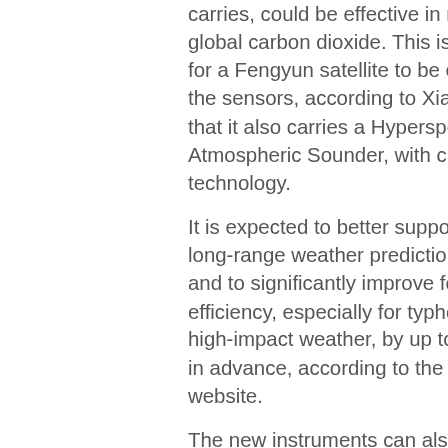carries, could be effective in monitoring global carbon dioxide. This is the first time for a Fengyun satellite to be equipped with the sensors, according to Xian, who notes that it also carries a Hyperspectral Infrared Atmospheric Sounder, with cutting-edge technology.
It is expected to better support mid-to-long-range weather predictions in China and to significantly improve forecasting efficiency, especially for typhoons or other high-impact weather, by up to 5 to 7 days in advance, according to the NSMC website.
The new instruments can also help China monitor smog, possible draughts, or the vegetation coverage rate, Xian said.
He added that the data collected by Fengyun-3D, as is the case with the other satellites, will be available to the rest of the world for free, as long as the applicants install the correct